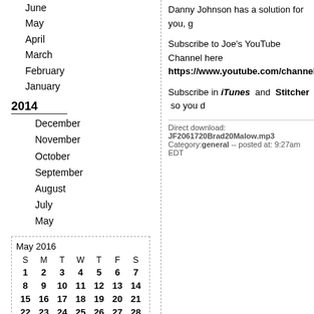June
May
April
March
February
January
2014
December
November
October
September
August
July
May
| S | M | T | W | T | F | S |
| --- | --- | --- | --- | --- | --- | --- |
| 1 | 2 | 3 | 4 | 5 | 6 | 7 |
| 8 | 9 | 10 | 11 | 12 | 13 | 14 |
| 15 | 16 | 17 | 18 | 19 | 20 | 21 |
| 22 | 23 | 24 | 25 | 26 | 27 | 28 |
| 29 | 30 | 31 |  |  |  |  |
Danny Johnson has a solution for you, g
Subscribe to Joe's YouTube Channel here https://www.youtube.com/channel/UCwT
Subscribe in iTunes and Stitcher so you d
Direct download: JF2061720Brad20Malow.mp3
Category:general -- posted at: 9:27am EDT